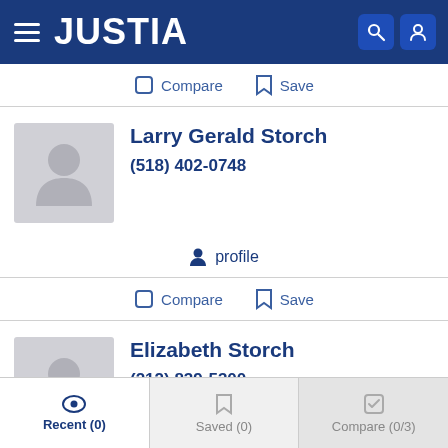JUSTIA
Compare  Save
Larry Gerald Storch
(518) 402-0748
profile
Compare  Save
Elizabeth Storch
(212) 839-5300
profile
Recent (0)  Saved (0)  Compare (0/3)